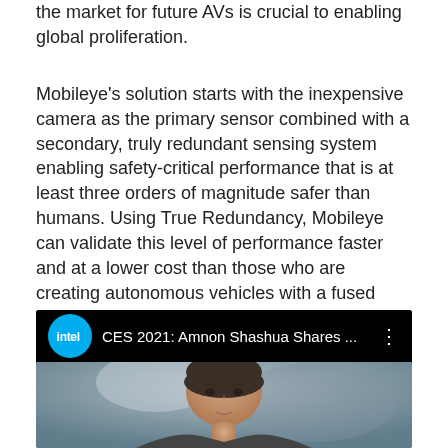the market for future AVs is crucial to enabling global proliferation.
Mobileye's solution starts with the inexpensive camera as the primary sensor combined with a secondary, truly redundant sensing system enabling safety-critical performance that is at least three orders of magnitude safer than humans. Using True Redundancy, Mobileye can validate this level of performance faster and at a lower cost than those who are creating autonomous vehicles with a fused system.
[Figure (screenshot): YouTube-style video thumbnail showing Intel logo and title 'CES 2021: Amnon Shashua Shares ...' with a photo of a man (Amnon Shashua) below on a dark/blurred background.]